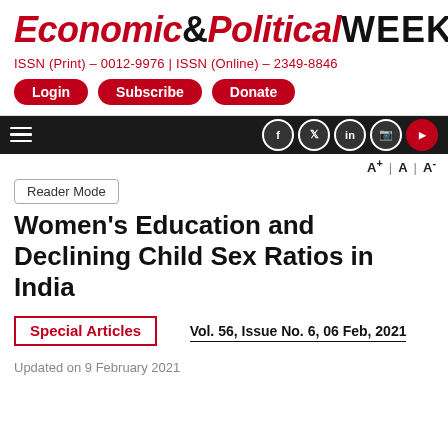Economic&Political WEEKLY
ISSN (Print) – 0012-9976 | ISSN (Online) – 2349-8846
Login | Subscribe | Donate
Reader Mode
Women's Education and Declining Child Sex Ratios in India
Special Articles
Vol. 56, Issue No. 6, 06 Feb, 2021
Updated on 9 February 2021